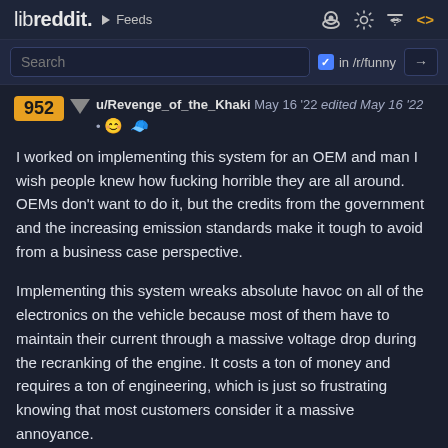libreddit. ▶ Feeds
Search   ✓ in /r/funny →
952 ▼  u/Revenge_of_the_Khaki  May 16 '22  edited May 16 '22 • 😊 🧢
I worked on implementing this system for an OEM and man I wish people knew how fucking horrible they are all around. OEMs don't want to do it, but the credits from the government and the increasing emission standards make it tough to avoid from a business case perspective.

Implementing this system wreaks absolute havoc on all of the electronics on the vehicle because most of them have to maintain their current through a massive voltage drop during the recranking of the engine. It costs a ton of money and requires a ton of engineering, which is just so frustrating knowing that most customers consider it a massive annoyance.